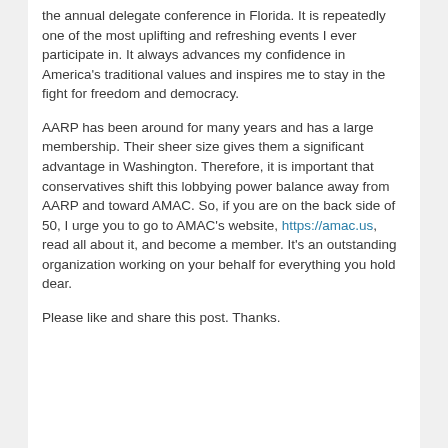the annual delegate conference in Florida. It is repeatedly one of the most uplifting and refreshing events I ever participate in. It always advances my confidence in America's traditional values and inspires me to stay in the fight for freedom and democracy.
AARP has been around for many years and has a large membership. Their sheer size gives them a significant advantage in Washington. Therefore, it is important that conservatives shift this lobbying power balance away from AARP and toward AMAC. So, if you are on the back side of 50, I urge you to go to AMAC's website, https://amac.us, read all about it, and become a member. It's an outstanding organization working on your behalf for everything you hold dear.
Please like and share this post. Thanks.